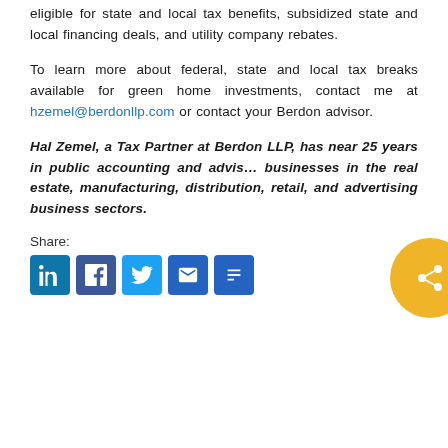eligible for state and local tax benefits, subsidized state and local financing deals, and utility company rebates.
To learn more about federal, state and local tax breaks available for green home investments, contact me at hzemel@berdonllp.com or contact your Berdon advisor.
Hal Zemel, a Tax Partner at Berdon LLP, has near 25 years in public accounting and advising businesses in the real estate, manufacturing, distribution, retail, and advertising business sectors.
Share:
[Figure (infographic): Social sharing buttons: LinkedIn, Facebook, Twitter, Email, More]